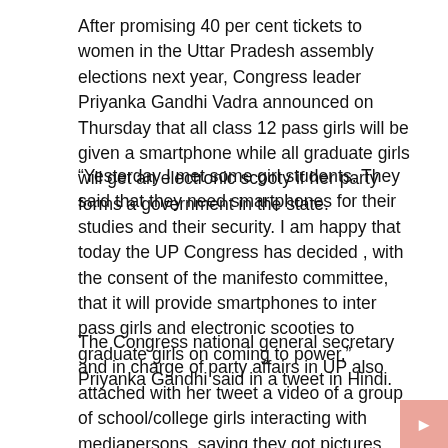After promising 40 per cent tickets to women in the Uttar Pradesh assembly elections next year, Congress leader Priyanka Gandhi Vadra announced on Thursday that all class 12 pass girls will be given a smartphone while all graduate girls will get an electronic scooty if her party forms a government in the state.
“Yesterday I met some girl students. They said that they need smartphones for their studies and their security. I am happy that today the UP Congress has decided , with the consent of the manifesto committee, that it will provide smartphones to inter pass girls and electronic scooties to graduate girls on coming to power,” Priyanka Gandhi said in a tweet in Hindi.
The Congress national general secretary and in charge of party affairs in UP also attached with her tweet a video of a group of school/college girls interacting with mediapersons, saying they got pictures clicked with her.